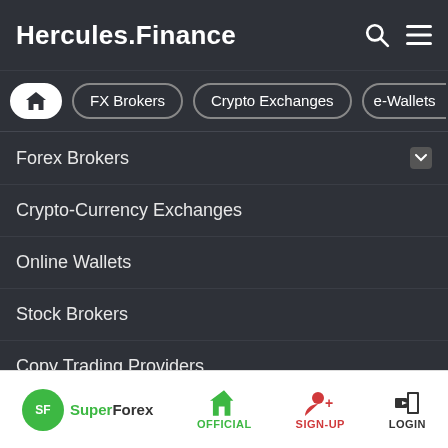Hercules.Finance
FX Brokers
Crypto Exchanges
e-Wallets
Forex Brokers
Crypto-Currency Exchanges
Online Wallets
Stock Brokers
Copy Trading Providers
Promotions
Promotions
Trading Contests
SuperForex | OFFICIAL | SIGN-UP | LOGIN